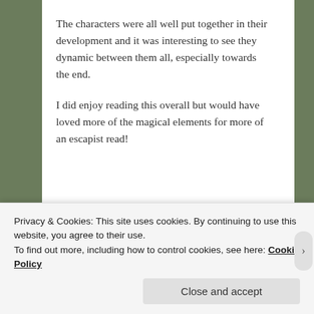The characters were all well put together in their development and it was interesting to see they dynamic between them all, especially towards the end.
I did enjoy reading this overall but would have loved more of the magical elements for more of an escapist read!
[Figure (illustration): Two guard emoji figures (British royal guard) on the right side]
[Figure (illustration): Three guard emoji figures (British royal guard) on the left side]
Privacy & Cookies: This site uses cookies. By continuing to use this website, you agree to their use.
To find out more, including how to control cookies, see here: Cookie Policy